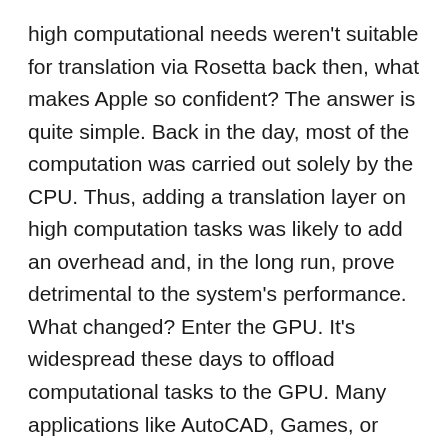high computational needs weren't suitable for translation via Rosetta back then, what makes Apple so confident? The answer is quite simple. Back in the day, most of the computation was carried out solely by the CPU. Thus, adding a translation layer on high computation tasks was likely to add an overhead and, in the long run, prove detrimental to the system's performance. What changed? Enter the GPU. It's widespread these days to offload computational tasks to the GPU. Many applications like AutoCAD, Games, or Photoshop unstable for translation back in the day are using GPU for most heavy lifting today. It is a serious advantage for the translation process.
Let's analyse an example to understand the process better. Consider the following C program: